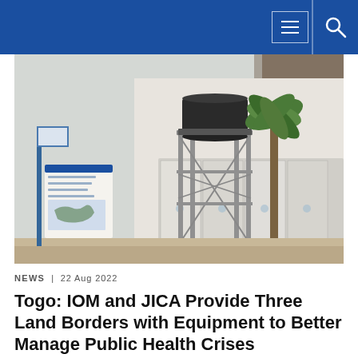[Figure (photo): Outdoor scene at a land border post showing a metal water tower structure on a scaffolding frame, white shipping container-style units lined up, a palm tree, and a banner/sign with logos, under a light sky with a partial roof visible on the right.]
NEWS | 22 Aug 2022
Togo: IOM and JICA Provide Three Land Borders with Equipment to Better Manage Public Health Crises